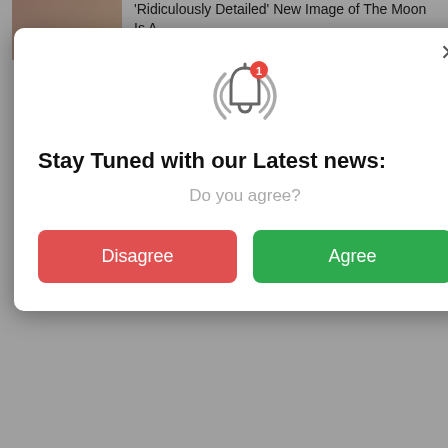[Figure (screenshot): Website news list thumbnail - top cropped image of a person]
'Ridiculously Detailed' New Image of The Moon Is A …aphy
…s At First, Until They
…in Texas Are Among
[Figure (screenshot): Website notification permission popup modal with bell icon, title 'Stay Tuned with our Latest news:', subtitle 'Do you agree?', and two buttons: Disagree (red) and Agree (green)]
…ices of Water on Mars Everywhere We Look
Extreme Lookalikes May Share Much Deeper Ties Than We Ever Realized
This Caterpillar-Like Organism May Be Crawling Around in Your Mouth Right Now
The Biggest Star Ever Found Just Revealed A Surprising New Insight